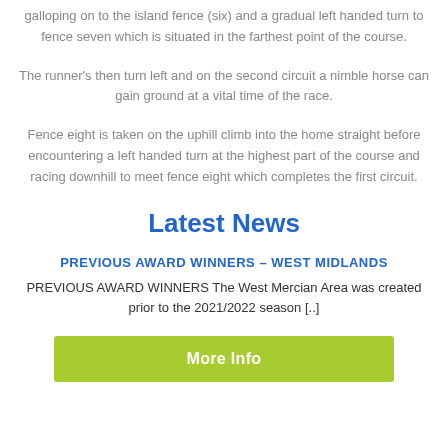galloping on to the island fence (six) and a gradual left handed turn to fence seven which is situated in the farthest point of the course.
The runner's then turn left and on the second circuit a nimble horse can gain ground at a vital time of the race.
Fence eight is taken on the uphill climb into the home straight before encountering a left handed turn at the highest part of the course and racing downhill to meet fence eight which completes the first circuit.
Latest News
PREVIOUS AWARD WINNERS – WEST MIDLANDS
PREVIOUS AWARD WINNERS The West Mercian Area was created prior to the 2021/2022 season [..]
More Info